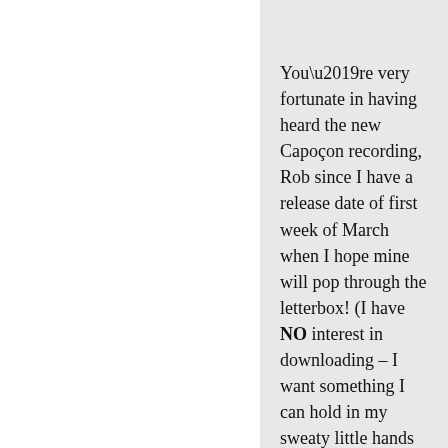You’re very fortunate in having heard the new Capoçon recording, Rob since I have a release date of first week of March when I hope mine will pop through the letterbox! (I have NO interest in downloading – I want something I can hold in my sweaty little hands just as I did back in 1977 when I first started buying records from Rae Macintosh in South Queensferry Street in